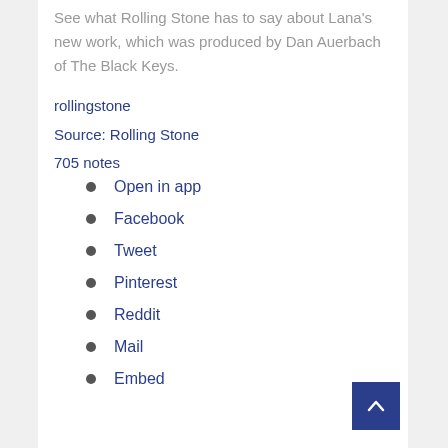See what Rolling Stone has to say about Lana's new work, which was produced by Dan Auerbach of The Black Keys.
rollingstone
Source: Rolling Stone
705 notes
Open in app
Facebook
Tweet
Pinterest
Reddit
Mail
Embed